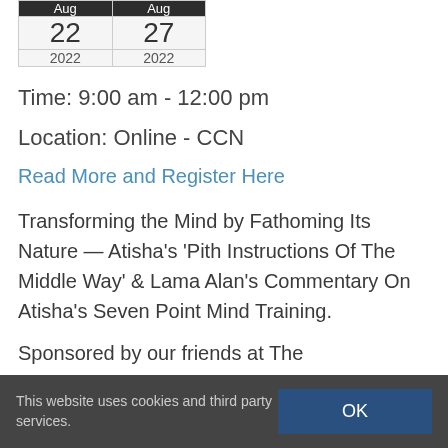| Aug | Aug |
| --- | --- |
| 22 | 27 |
| 2022 | 2022 |
Time: 9:00 am - 12:00 pm
Location: Online - CCN
Read More and Register Here
Transforming the Mind by Fathoming Its Nature — Atisha’s ‘Pith Instructions Of The Middle Way’ & Lama Alan’s Commentary On Atisha’s Seven Point Mind Training.
Sponsored by our friends at The
This website uses cookies and third party services.